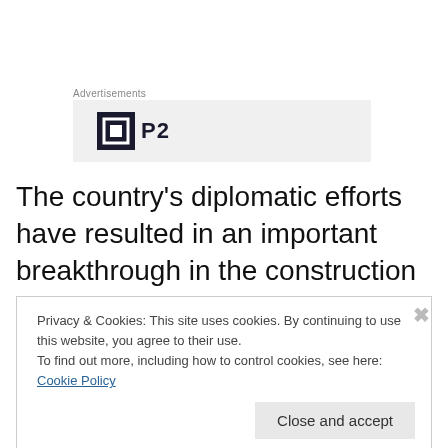Advertisements
[Figure (logo): P2 logo — dark square icon with white H-like symbol and 'P2' text on light grey background advertisement box]
The country’s diplomatic efforts have resulted in an important breakthrough in the construction sector with the Mongomo Leader’s Club set to become the first building constructed in Equatorial Guinea by a South Korean
Privacy & Cookies: This site uses cookies. By continuing to use this website, you agree to their use.
To find out more, including how to control cookies, see here: Cookie Policy
Close and accept